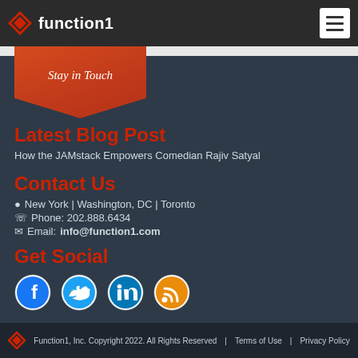function1 [logo + navigation bar]
[Figure (illustration): Red pentagon/chevron banner with 'Stay in Touch' text in italic white]
Latest Blog Post
How the JAMstack Empowers Comedian Rajiv Satyal
Contact Us
New York | Washington, DC | Toronto
Phone: 202.888.6434
Email: info@function1.com
Get Social
[Figure (illustration): Four social media icons: Facebook, Twitter, LinkedIn, RSS feed]
Function1, Inc. Copyright 2022. All Rights Reserved  |  Terms of Use  |  Privacy Policy